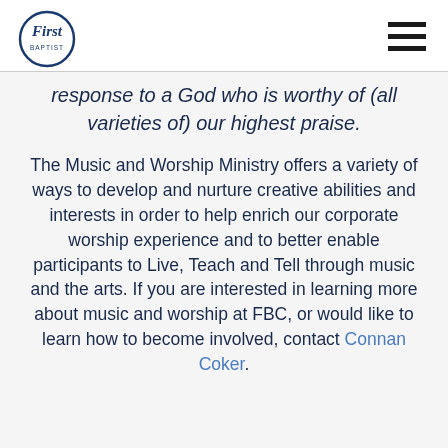First Baptist (logo) [hamburger menu]
response to a God who is worthy of (all varieties of) our highest praise.
The Music and Worship Ministry offers a variety of ways to develop and nurture creative abilities and interests in order to help enrich our corporate worship experience and to better enable participants to Live, Teach and Tell through music and the arts. If you are interested in learning more about music and worship at FBC, or would like to learn how to become involved, contact Connan Coker.